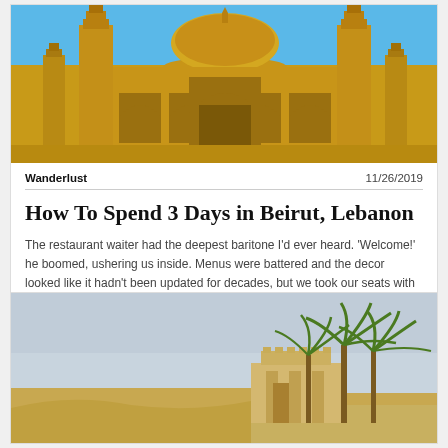[Figure (photo): Golden mosque with blue sky, arched colonnades and minarets — Muhammad Al-Amin Mosque in Beirut]
Wanderlust
11/26/2019
How To Spend 3 Days in Beirut, Lebanon
The restaurant waiter had the deepest baritone I'd ever heard. 'Welcome!' he boomed, ushering us inside. Menus were battered and the decor looked like it hadn't been updated for decades, but we took our seats with the promise of a good meal.
[Figure (photo): Desert scene with sandy building and palm trees under a hazy blue sky]